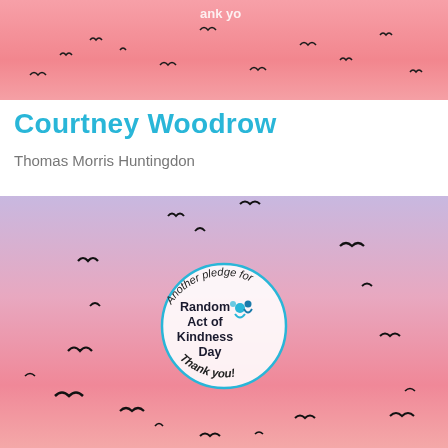[Figure (photo): Top portion of a pink/salmon sky with birds silhouetted, partially cropped — showing text 'ank yo' at top (partial 'thank you'), with silhouetted birds flying across the pink gradient sky.]
Courtney Woodrow
Thomas Morris Huntingdon
[Figure (photo): A pink-to-lavender gradient sky background with many silhouetted birds flying in a scattered arc pattern. In the center is a circular badge/stamp design with curved text reading 'Another pledge for' at the top and 'Thank you!' at the bottom. Inside the circle is text reading 'Random Act of Kindness Day' accompanied by a small blue logo of stylized people figures.]